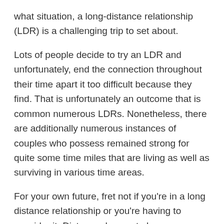what situation, a long-distance relationship (LDR) is a challenging trip to set about.
Lots of people decide to try an LDR and unfortunately, end the connection throughout their time apart it too difficult because they find. That is unfortunately an outcome that is common numerous LDRs. Nonetheless, there are additionally numerous instances of couples who possess remained strong for quite some time miles that are living as well as surviving in various time areas.
For your own future, fret not if you're in a long distance relationship or you're having to consider it. Distance does not always mean your relationship is condemned to fail. In reality, it could strengthen your connection way more than you'd ever get have in the event that you lived near to one